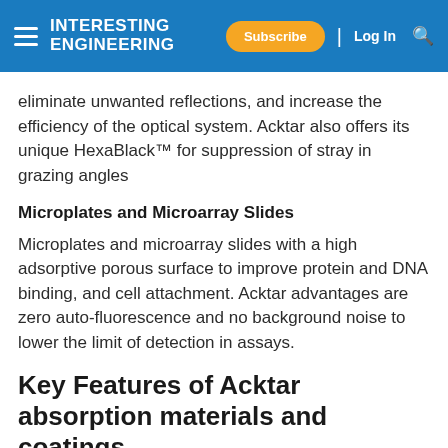INTERESTING ENGINEERING | Subscribe | Log In
eliminate unwanted reflections, and increase the efficiency of the optical system. Acktar also offers its unique HexaBlack™ for suppression of stray in grazing angles
Microplates and Microarray Slides
Microplates and microarray slides with a high adsorptive porous surface to improve protein and DNA binding, and cell attachment. Acktar advantages are zero auto-fluorescence and no background noise to lower the limit of detection in assays.
Key Features of Acktar absorption materials and coatings
Acktar seeks to improve product design processes for